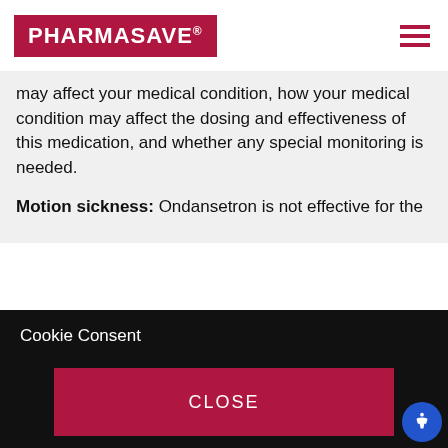PHARMASAVE®
may affect your medical condition, how your medical condition may affect the dosing and effectiveness of this medication, and whether any special monitoring is needed.
Motion sickness: Ondansetron is not effective for the
Cookie Consent
Pharmasave uses cookies to provide a personalized experience, analyze traffic, improve site performance, and provide social media features. By using our site, you agree to our privacy policy.
CLOSE